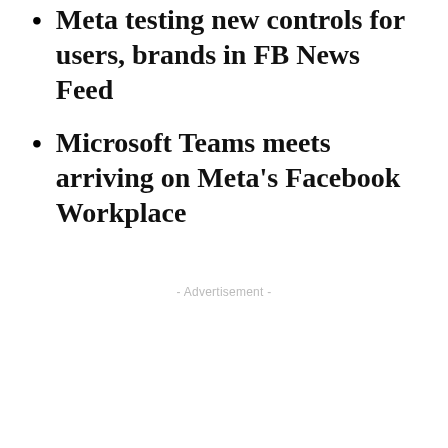Meta testing new controls for users, brands in FB News Feed
Microsoft Teams meets arriving on Meta's Facebook Workplace
- Advertisement -